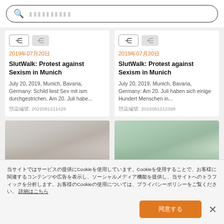[Figure (screenshot): Search bar with magnifying glass icon and placeholder text (Japanese characters)]
[Figure (screenshot): Left card with icons, date 2019年07月20日, title SlutWalk: Protest against Sexism in Munich, description text, ID 2022081211428]
[Figure (screenshot): Right card with icons, date 2019年07月20日, title SlutWalk: Protest against Sexism in Munich, description text, ID 2022081212398]
[Figure (photo): Bottom left card showing partial photo of buildings]
[Figure (photo): Bottom right card showing partial photo with trees]
当サイトではCookieを使用しています。Cookie使用により、お客様に関連するコンテンツや広告を表示し、ソーシャルメディア機能を提供し、当サイトのトラフィックを分析します。お客様のCookieの使用については、プライバシーポリシーをご覧ください。 詳細はこちら
同意する